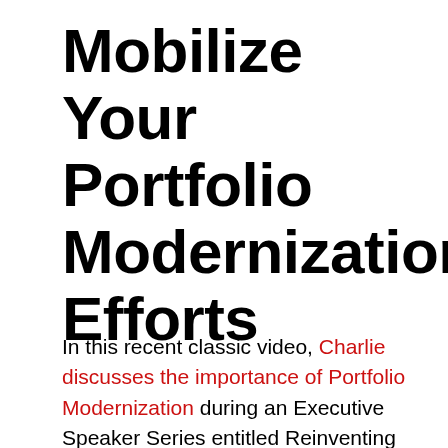Mobilize Your Portfolio Modernization Efforts
In this recent classic video, Charlie discusses the importance of Portfolio Modernization during an Executive Speaker Series entitled Reinventing the Enterprise hosted by Dialexa.  This pandemic has accelerated the pace of change and raised